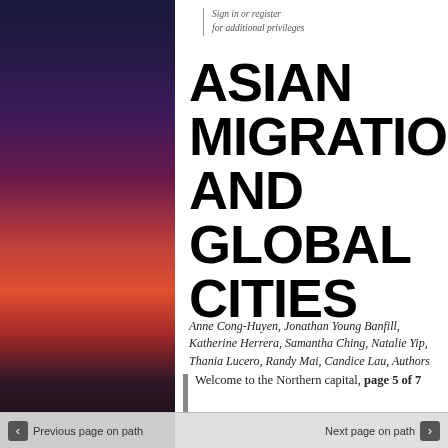[Figure (photo): Nighttime urban street scene with red and purple tones, showing glowing signs and atmospheric lighting]
Sign in or register for additional privileges
ASIAN MIGRATION AND GLOBAL CITIES
Anne Cong-Huyen, Jonathan Young Banfill, Katherine Herrera, Samantha Ching, Natalie Yip, Thania Lucero, Randy Mai, Candice Lau, Authors
Welcome to the Northern capital, page 5 of 7
Previous page on path    Next page on path